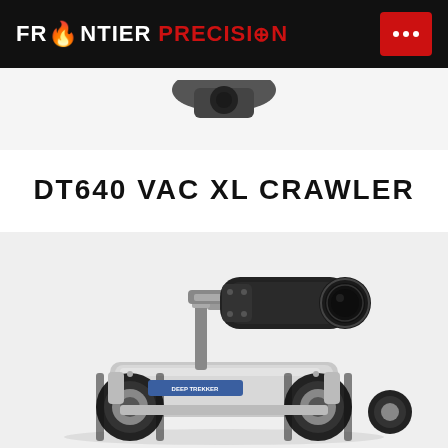FRONTIER PRECISION
[Figure (photo): Partial top view of a crawler inspection robot on a light grey background, showing the upper portion cut off at the top]
DT640 VAC XL CRAWLER
[Figure (photo): DT640 VAC XL Crawler inspection robot photographed on a white/light grey background. A stainless steel wheeled chassis with large rubber-treaded wheels, a camera arm/pan-tilt unit mounted on top holding a large cylindrical black camera/zoom lens assembly. A blue label reading 'Deep Trekker' is visible on the body.]